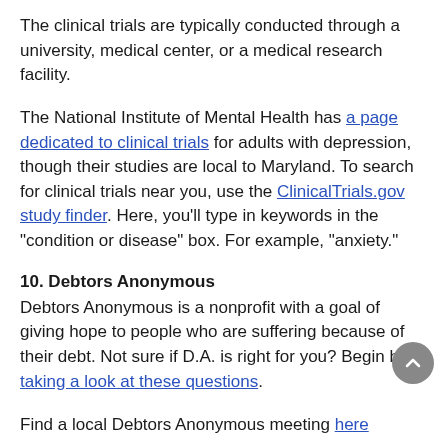The clinical trials are typically conducted through a university, medical center, or a medical research facility.
The National Institute of Mental Health has a page dedicated to clinical trials for adults with depression, though their studies are local to Maryland. To search for clinical trials near you, use the ClinicalTrials.gov study finder. Here, you'll type in keywords in the “condition or disease” box. For example, “anxiety.”
10. Debtors Anonymous
Debtors Anonymous is a nonprofit with a goal of giving hope to people who are suffering because of their debt. Not sure if D.A. is right for you? Begin by taking a look at these questions.
Find a local Debtors Anonymous meeting here